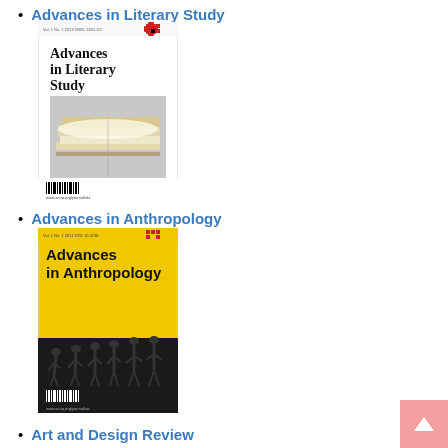Advances in Literary Study
[Figure (illustration): Cover image of the journal 'Advances in Literary Study' — white background with large bold black serif text title, small red Scientific Research Publishing logo top right, photograph of stacked open books in center, barcode at bottom left.]
Advances in Anthropology
[Figure (illustration): Cover image of the journal 'Advances in Anthropology' — bright yellow background with large bold black text title, small red Scientific Research Publishing logo top right, silhouette evolution march of primates to human at bottom, black bar with barcode at bottom.]
Art and Design Review